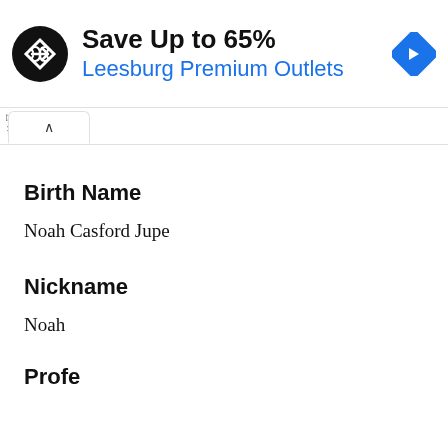[Figure (infographic): Advertisement banner for Leesburg Premium Outlets with logo, text 'Save Up to 65%' and navigation arrow icon]
Birth Name
Noah Casford Jupe
Nickname
Noah
Profession